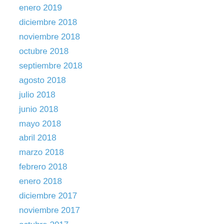enero 2019
diciembre 2018
noviembre 2018
octubre 2018
septiembre 2018
agosto 2018
julio 2018
junio 2018
mayo 2018
abril 2018
marzo 2018
febrero 2018
enero 2018
diciembre 2017
noviembre 2017
octubre 2017
septiembre 2017
agosto 2017
julio 2017
junio 2017